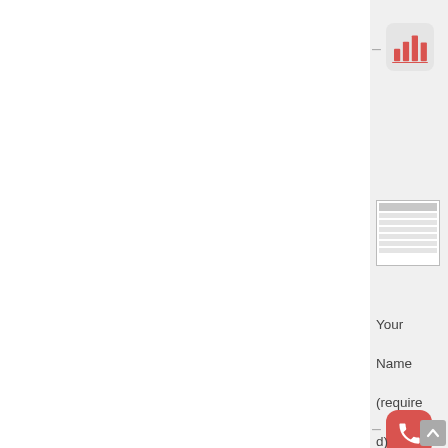[Figure (infographic): Bar chart icon in red/coral color on light background, with a dash separator to its left, and partially visible bold text 'T' and 'P' to its right]
[Figure (table-as-image): Small thumbnail image of a table/spreadsheet]
[Figure (infographic): Phone handset icon in white on red rounded-square background, with a dash separator to its left, and partially visible bold text 'In' and 'C' to its right]
Your Name (required)
[Figure (infographic): Blue circular chat bubble icon with white message dot symbol inside]
Your